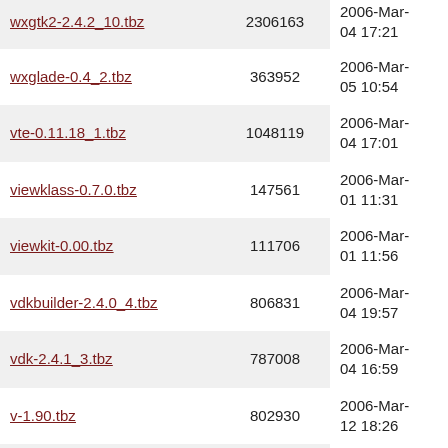| Filename | Size | Date |
| --- | --- | --- |
| wxgtk2-2.4.2_10.tbz | 2306163 | 2006-Mar-04 17:21 |
| wxglade-0.4_2.tbz | 363952 | 2006-Mar-05 10:54 |
| vte-0.11.18_1.tbz | 1048119 | 2006-Mar-04 17:01 |
| viewklass-0.7.0.tbz | 147561 | 2006-Mar-01 11:31 |
| viewkit-0.00.tbz | 111706 | 2006-Mar-01 11:56 |
| vdkbuilder-2.4.0_4.tbz | 806831 | 2006-Mar-04 19:57 |
| vdk-2.4.1_3.tbz | 787008 | 2006-Mar-04 16:59 |
| v-1.90.tbz | 802930 | 2006-Mar-12 18:26 |
| tktable-2.8_1.tbz | 72650 | 2006-Mar-01 12:06 |
| tkstep-8.0.4.tbz | 1519189 | 2006-Mar-01 05:03 |
| tkshape-0.4.tbz | 27055 | 2006-Mar-01 12:05 |
| (partial) |  | 2006-Feb-... |